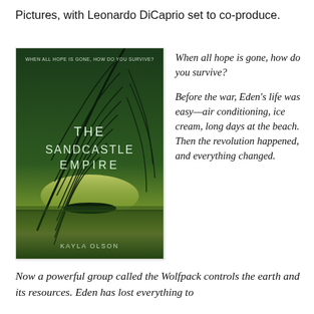Pictures, with Leonardo DiCaprio set to co-produce.
[Figure (photo): Book cover of 'The Sandcastle Empire' by Kayla Olson. Dark green background with palm frond silhouette and a small island on water. Text reads: 'WHEN ALL HOPE IS GONE, HOW DO YOU SURVIVE?' at top, 'THE SANDCASTLE EMPIRE' in center, 'KAYLA OLSON' at bottom.]
When all hope is gone, how do you survive?

Before the war, Eden’s life was easy—air conditioning, ice cream, long days at the beach. Then the revolution happened, and everything changed.
Now a powerful group called the Wolfpack controls the earth and its resources. Eden has lost everything to